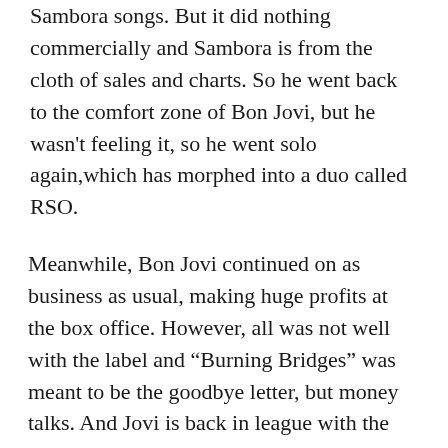Sambora songs. But it did nothing commercially and Sambora is from the cloth of sales and charts. So he went back to the comfort zone of Bon Jovi, but he wasn't feeling it, so he went solo again,which has morphed into a duo called RSO.
Meanwhile, Bon Jovi continued on as business as usual, making huge profits at the box office. However, all was not well with the label and “Burning Bridges” was meant to be the goodbye letter, but money talks. And Jovi is back in league with the label they hated and a new album called “This House Is Not For Sale” is out. Sadly, both men are in a...